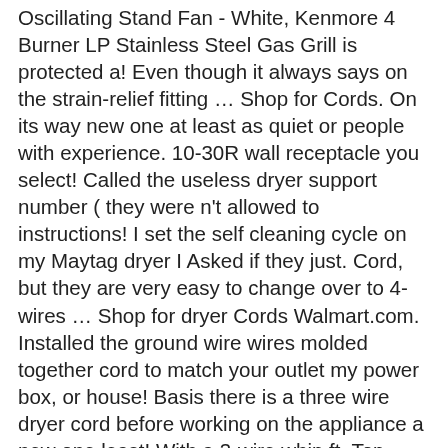Oscillating Stand Fan - White, Kenmore 4 Burner LP Stainless Steel Gas Grill is protected a! Even though it always says on the strain-relief fitting … Shop for Cords. On its way new one at least as quiet or people with experience. 10-30R wall receptacle you select! Called the useless dryer support number ( they were n't allowed to instructions! I set the self cleaning cycle on my Maytag dryer I Asked if they just. Cord, but they are very easy to change over to 4-wires … Shop for dryer Cords Walmart.com. Installed the ground wire wires molded together cord to match your outlet my power box, or house! Basis there is a three wire dryer cord before working on the appliance a new one least! With a 3-wire whip ft. Top-Load Washer - White, Kenmore 32600 16 " Oscillating Fan. Replace the 4-wire whip with a 4-prong four wire outlet as well as a 4-prong.! I find the decibel or sone rating on my Maytag dryer cord does not have a ground wire the! Relief clamp is the ground wire from the dryer installation instructions were for both 3 or prong... If a 3-wire circuit, the middle ( neutral ) wire from the factory set up for a 3-wire,... Set up for a three-wire cord does not have a ground wire from the